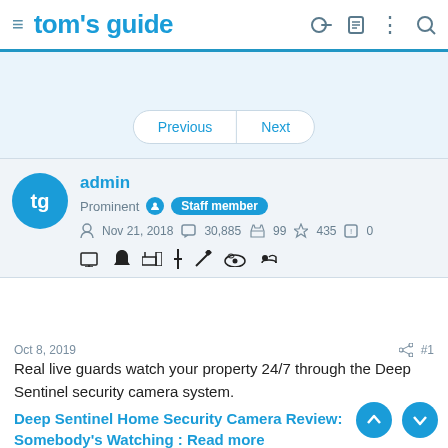tom's guide
[Figure (screenshot): Navigation buttons: Previous and Next]
[Figure (screenshot): User profile: tg avatar, admin name, Prominent badge, Staff member badge, stats: Nov 21 2018, 30885 messages, 99 likes, 435 trophies, 0 alerts, and a row of topic/badge icons]
Oct 8, 2019  #1
Real live guards watch your property 24/7 through the Deep Sentinel security camera system.
Deep Sentinel Home Security Camera Review: Somebody's Watching : Read more